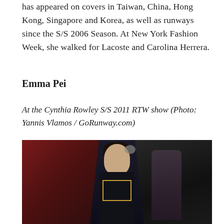has appeared on covers in Taiwan, China, Hong Kong, Singapore and Korea, as well as runways since the S/S 2006 Season. At New York Fashion Week, she walked for Lacoste and Carolina Herrera.
Emma Pei
At the Cynthia Rowley S/S 2011 RTW show (Photo: Yannis Vlamos / GoRunway.com)
[Figure (photo): A model walking the runway at the Cynthia Rowley S/S 2011 RTW show. The model is wearing a dark outfit with gold trim/collar detail and has dark hair. Background shows blurred red/flag motif on the left and dark tones on the right with another model visible in the background.]